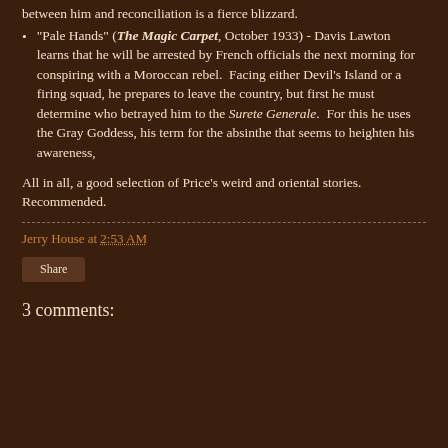between him and reconciliation is a fierce blizzard.
"Pale Hands" (The Magic Carpet, October 1933) - Davis Lawton learns that he will be arrested by French officials the next morning for conspiring with a Moroccan rebel.  Facing either Devil's Island or a firing squad, he prepares to leave the country, but first he must determine who betrayed him to the Surete Generale.  For this he uses the Gray Goddess, his term for the absinthe that seems to heighten his awareness,
All in all, a good selection of Price's weird and oriental stories.  Recommended.
Jerry House at 2:53 AM
Share
3 comments: